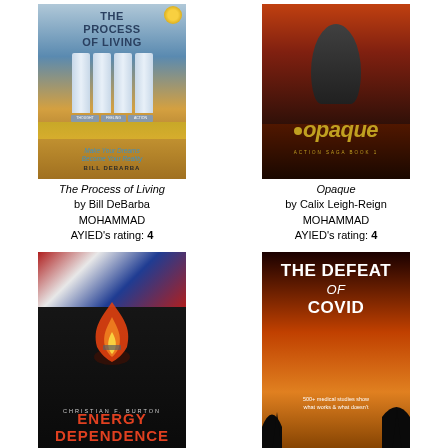[Figure (illustration): Book cover: The Process of Living by Bill DeBarba. Shows Greek columns against a sunset sky, with subtitle 'Make Your Dreams Become Your Reality'. Gold medal badge in corner.]
The Process of Living by Bill DeBarba MOHAMMAD AYIED's rating: 4
[Figure (illustration): Book cover: Opaque by Calix Leigh-Reign. Shows a hooded figure against a fiery orange background. Title in gold italic text.]
Opaque by Calix Leigh-Reign MOHAMMAD AYIED's rating: 4
[Figure (illustration): Book cover: Energy Dependence by Christian F. Burton. Shows a burning object against dark background with an American flag at the top.]
[Figure (illustration): Book cover: The Defeat of COVID. Shows bold white text on a sunset/dusk background with trees silhouetted. Subtitle: '500+ medical studies show what works & what doesn't'.]